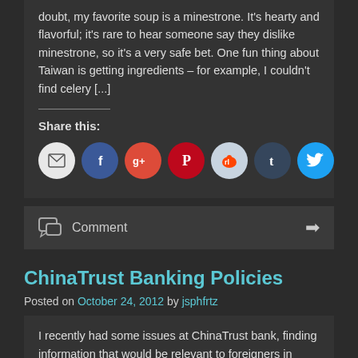doubt, my favorite soup is a minestrone. It's hearty and flavorful; it's rare to hear someone say they dislike minestrone, so it's a very safe bet. One fun thing about Taiwan is getting ingredients – for example, I couldn't find celery [...]
Share this:
[Figure (infographic): Social sharing icon buttons: email (grey), Facebook (blue), Google+ (red-orange), Pinterest (red), Reddit (light blue), Tumblr (dark blue), Twitter (cyan blue)]
Comment
ChinaTrust Banking Policies
Posted on October 24, 2012 by jsphfrtz
I recently had some issues at ChinaTrust bank, finding information that would be relevant to foreigners in Taiwan. Hopefully, conveying what I learned can save you some time...